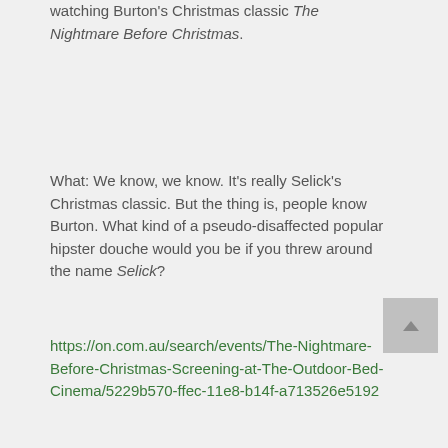watching Burton's Christmas classic The Nightmare Before Christmas.
What: We know, we know. It's really Selick's Christmas classic. But the thing is, people know Burton. What kind of a pseudo-disaffected popular hipster douche would you be if you threw around the name Selick?
https://on.com.au/search/events/The-Nightmare-Before-Christmas-Screening-at-The-Outdoor-Bed-Cinema/5229b570-ffec-11e8-b14f-a713526e5192